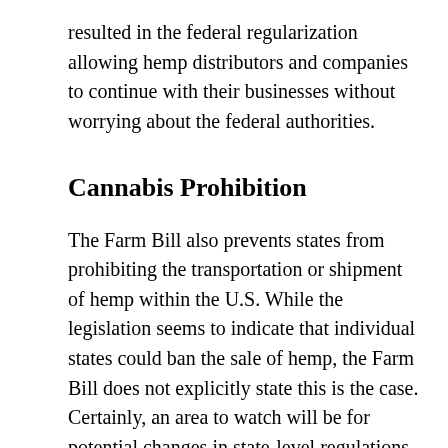resulted in the federal regularization allowing hemp distributors and companies to continue with their businesses without worrying about the federal authorities.
Cannabis Prohibition
The Farm Bill also prevents states from prohibiting the transportation or shipment of hemp within the U.S. While the legislation seems to indicate that individual states could ban the sale of hemp, the Farm Bill does not explicitly state this is the case. Certainly, an area to watch will be for potential changes in state-level regulations that occur as a result of the passage of the Farm Bill.
Under the FD&C Act, it's illegal to introduce drug